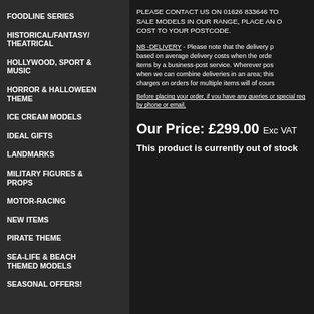FOODLINE SERIES
HISTORICAL/FANTASY/ THEATRICAL
HOLLYWOOD, SPORT & MUSIC
HORROR & HALLOWEEN THEME
ICE CREAM MODELS
IDEAL GIFTS
LANDMARKS
MILITARY FIGURES & PROPS
MOTOR-RACING
NEW ITEMS
PIRATE THEME
SEA-LIFE & BEACH THEMED MODELS
SEASONAL OFFERS!
PLEASE CONTACT US ON 01626 833646 TO SALE MODELS IN OUR RANGE, PLACE AN O COST TO YOUR POSTCODE.
NB -DELIVERY - Please note that the delivery p based on average delivery costs when the orde items by a business-post service. Wherever pos when we can combine deliveries in an area; this charges on orders for multiple items will of cours
Before placing your order, if you have any queries or special req by phone or email.
Our Price: £299.00 Exc VAT
This product is currently out of stock